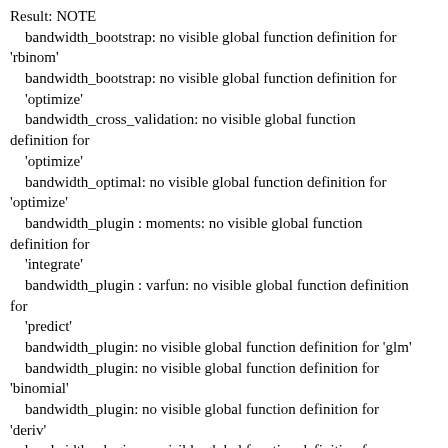Result: NOTE
    bandwidth_bootstrap: no visible global function definition for 'rbinom'
    bandwidth_bootstrap: no visible global function definition for 'optimize'
    bandwidth_cross_validation: no visible global function definition for 'optimize'
    bandwidth_optimal: no visible global function definition for 'optimize'
    bandwidth_plugin : moments: no visible global function definition for 'integrate'
    bandwidth_plugin : varfun: no visible global function definition for 'predict'
    bandwidth_plugin: no visible global function definition for 'glm'
    bandwidth_plugin: no visible global function definition for 'binomial'
    bandwidth_plugin: no visible global function definition for 'deriv'
    bandwidth_plugin: no visible global function definition for 'coefficients'
    bandwidth_plugin: no visible global function definition for 'integrate'
    binom_go: likfun: no visible global function definition for 'glm'